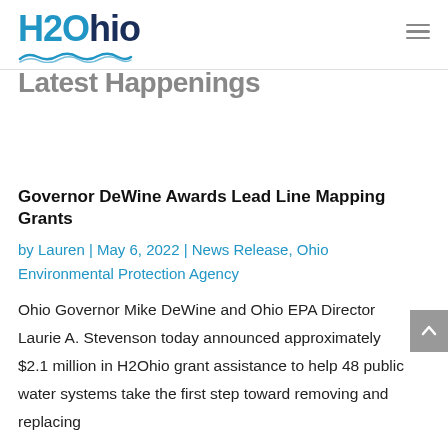[Figure (logo): H2Ohio logo with wave graphic underneath, blue and dark navy text]
Latest Happenings
Governor DeWine Awards Lead Line Mapping Grants
by Lauren | May 6, 2022 | News Release, Ohio Environmental Protection Agency
Ohio Governor Mike DeWine and Ohio EPA Director Laurie A. Stevenson today announced approximately $2.1 million in H2Ohio grant assistance to help 48 public water systems take the first step toward removing and replacing